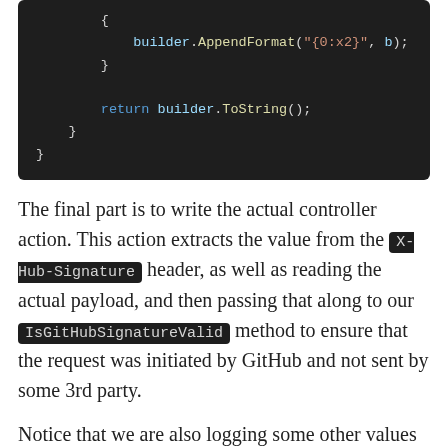[Figure (screenshot): Code snippet showing C# code with builder.AppendFormat and return builder.ToString() inside nested braces, on a dark background.]
The final part is to write the actual controller action. This action extracts the value from the X-Hub-Signature header, as well as reading the actual payload, and then passing that along to our IsGitHubSignatureValid method to ensure that the request was initiated by GitHub and not sent by some 3rd party.
Notice that we are also logging some other values received from GitHub. These will show up in the